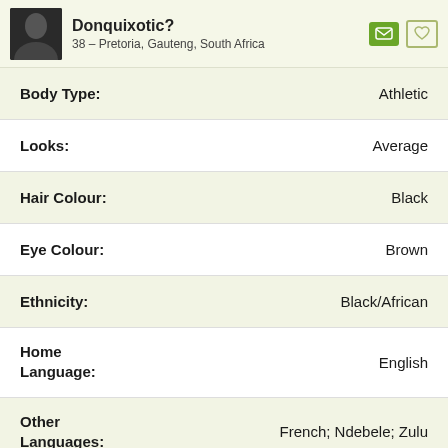Donquixotic? – 38 – Pretoria, Gauteng, South Africa
| Attribute | Value |
| --- | --- |
| Body Type: | Athletic |
| Looks: | Average |
| Hair Colour: | Black |
| Eye Colour: | Brown |
| Ethnicity: | Black/African |
| Home Language: | English |
| Other Languages: | French; Ndebele; Zulu |
| Religion: | Christian / Catholic |